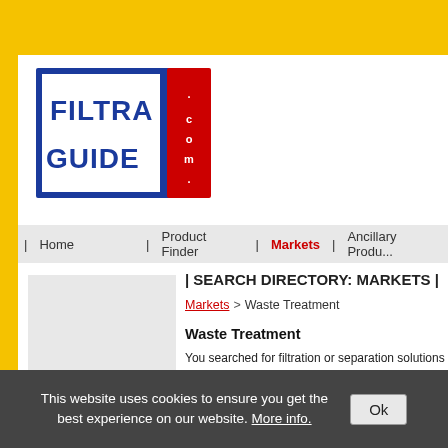[Figure (logo): FiltraGuide.com logo — blue square with white text 'Filtra Guide' and red '.com' panel on the right]
| Home  | Product Finder | Markets | Ancillary Produ...
| SEARCH DIRECTORY: MARKETS |
Markets > Waste Treatment
Waste Treatment
You searched for filtration or separation solutions for... you find a list of companies offering solutions for this... information to the search key Waste Treatment is dis... besides Waste Treatment you can also search for oth...
Total No. 28
This website uses cookies to ensure you get the best experience on our website. More info.